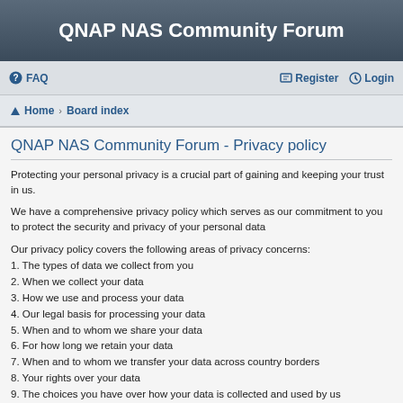QNAP NAS Community Forum
FAQ   Register   Login
Home · Board index
QNAP NAS Community Forum - Privacy policy
Protecting your personal privacy is a crucial part of gaining and keeping your trust in us.
We have a comprehensive privacy policy which serves as our commitment to you to protect the security and privacy of your personal data
Our privacy policy covers the following areas of privacy concerns:
1. The types of data we collect from you
2. When we collect your data
3. How we use and process your data
4. Our legal basis for processing your data
5. When and to whom we share your data
6. For how long we retain your data
7. When and to whom we transfer your data across country borders
8. Your rights over your data
9. The choices you have over how your data is collected and used by us
10. Who to contact and what to do if you wish to discuss with us about your data